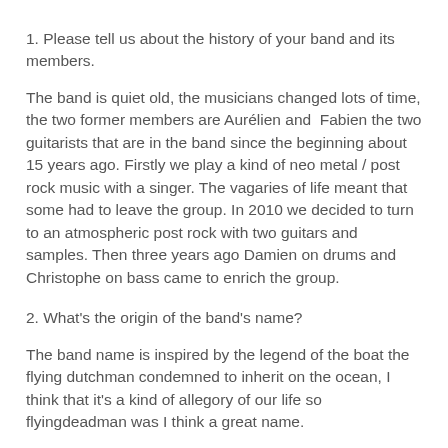1. Please tell us about the history of your band and its members.
The band is quiet old, the musicians changed lots of time, the two former members are Aurélien and  Fabien the two guitarists that are in the band since the beginning about 15 years ago. Firstly we play a kind of neo metal / post rock music with a singer. The vagaries of life meant that some had to leave the group. In 2010 we decided to turn to an atmospheric post rock with two guitars and samples. Then three years ago Damien on drums and Christophe on bass came to enrich the group.
2. What's the origin of the band's name?
The band name is inspired by the legend of the boat the flying dutchman condemned to inherit on the ocean, I think that it's a kind of allegory of our life so flyingdeadman was I think a great name.